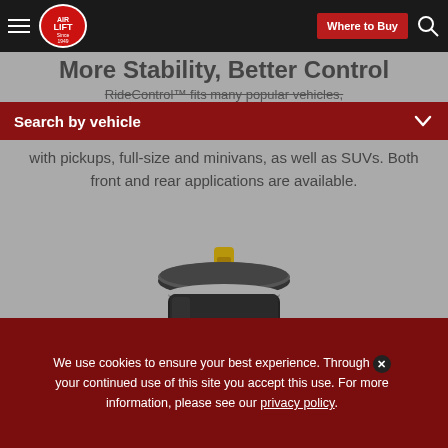More Stability, Better Control
RideControl™ fits many popular vehicles, with pickups, full-size and minivans, as well as SUVs. Both front and rear applications are available.
Search by vehicle
[Figure (photo): Air Lift RideControl air spring/helper spring product photo showing a black cylindrical air spring with a metal top plate and brass valve fitting]
We use cookies to ensure your best experience. Through your continued use of this site you accept this use. For more information, please see our privacy policy.